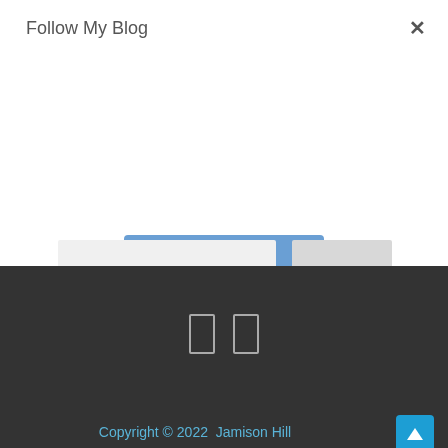Follow My Blog
[Figure (screenshot): Subscribe button - blue rounded rectangle with white bold text 'Subscribe']
[Figure (screenshot): Two rectangular outlined pause/media icons on dark background]
[Figure (screenshot): Blue 'Follow me on Twitter' button with icon]
Copyright © 2022  Jamison Hill